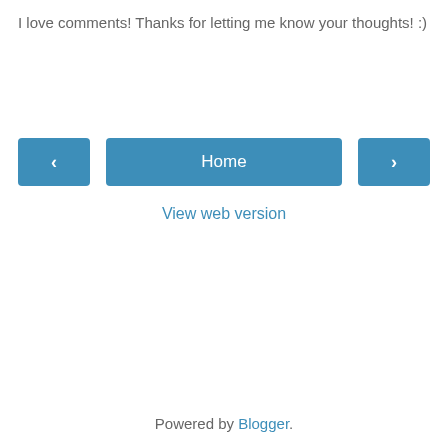I love comments! Thanks for letting me know your thoughts! :)
‹  Home  ›
View web version
Powered by Blogger.